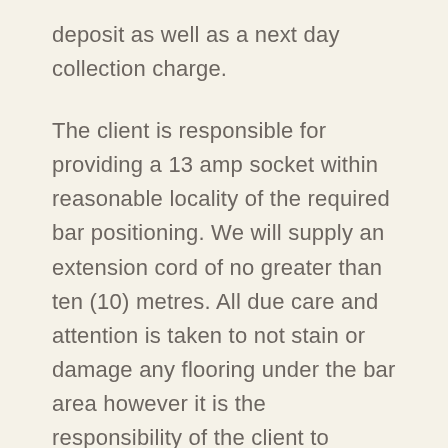deposit as well as a next day collection charge.
The client is responsible for providing a 13 amp socket within reasonable locality of the required bar positioning. We will supply an extension cord of no greater than ten (10) metres. All due care and attention is taken to not stain or damage any flooring under the bar area however it is the responsibility of the client to choose an appropriate location for the mobile bar.
We do aim to provide our bars in a